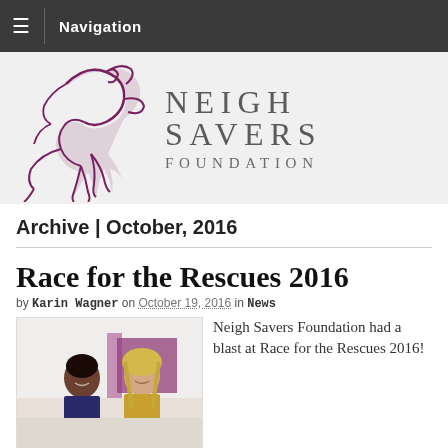Navigation
[Figure (logo): Neigh Savers Foundation logo with purple horse silhouette and text NEIGH SAVERS FOUNDATION]
Archive | October, 2016
Race for the Rescues 2016
by Karin Wagner on October 19, 2016 in News
[Figure (photo): Two women standing together at an outdoor event booth]
Neigh Savers Foundation had a blast at Race for the Rescues 2016!